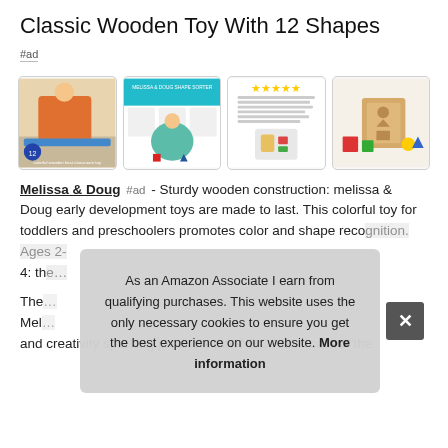Classic Wooden Toy With 12 Shapes
#ad
[Figure (photo): Four product images of a classic wooden shape sorter toy: child playing with toy, girl inserting shapes, product review screenshot with stars, and product photo showing wooden box with shapes]
Melissa & Doug #ad - Sturdy wooden construction: melissa & Doug early development toys are made to last. This colorful toy for toddlers and preschoolers promotes color and shape reco… 4: th…
The… Mel… and creativity sparking products that NBC News called "the
As an Amazon Associate I earn from qualifying purchases. This website uses the only necessary cookies to ensure you get the best experience on our website. More information